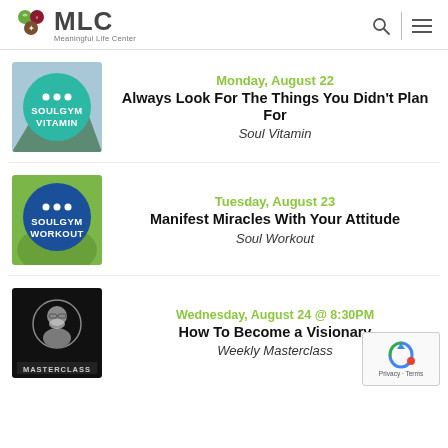MLC - Meaningful Life Center
[Figure (photo): Soul Vitamin thumbnail - teal circle with SOULGYM VITAMIN text and three dots]
Monday, August 22
Always Look For The Things You Didn't Plan For
Soul Vitamin
[Figure (photo): Soul Workout thumbnail - blue circle with SOULGYM WORKOUT text and three dots, hand holding]
Tuesday, August 23
Manifest Miracles With Your Attitude
Soul Workout
[Figure (photo): Masterclass thumbnail - dark background with man portrait in circle, MASTERCLASS label]
Wednesday, August 24 @ 8:30PM
How To Become a Visionary
Weekly Masterclass